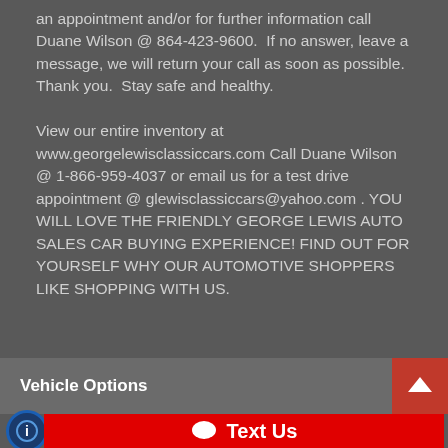an appointment and/or for further information call Duane Wilson @ 864-423-9600. If no answer, leave a message, we will return your call as soon as possible. Thank you. Stay safe and healthy.

View our entire inventory at www.georgelewisclassiccars.com Call Duane Wilson @ 1-866-959-4037 or email us for a test drive appointment @ glewisclassiccars@yahoo.com . YOU WILL LOVE THE FRIENDLY GEORGE LEWIS AUTO SALES CAR BUYING EXPERIENCE! FIND OUT FOR YOURSELF WHY OUR AUTOMOTIVE SHOPPERS LIKE SHOPPING WITH US.
Vehicle Options
Text Us